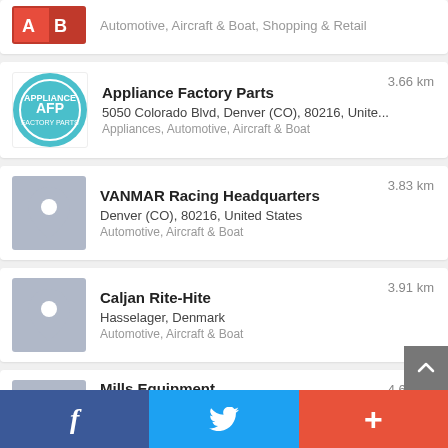Automotive, Aircraft & Boat, Shopping & Retail
Appliance Factory Parts — 3.66 km — 5050 Colorado Blvd, Denver (CO), 80216, Unite... — Appliances, Automotive, Aircraft & Boat
VANMAR Racing Headquarters — 3.83 km — Denver (CO), 80216, United States — Automotive, Aircraft & Boat
Caljan Rite-Hite — 3.91 km — Hasselager, Denmark — Automotive, Aircraft & Boat
Mills Equipment — 4.64 km — 2901 E 42nd Ave, Denver (CO), 80216-4114, Uni... — Business Service, Automotive, Aircraft & Boat, Moving
Facebook | Twitter | +